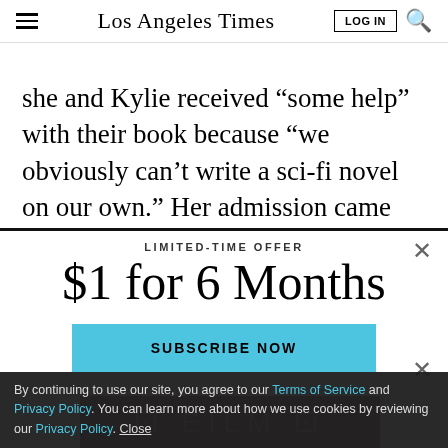Los Angeles Times
she and Kylie received “some help” with their book because “we obviously can’t write a sci-fi novel on our own.” Her admission came shortly after an embarrassing gaffe on the Billboard Music Awards, during which she misread a teleprompter and
LIMITED-TIME OFFER
$1 for 6 Months
SUBSCRIBE NOW
By continuing to use our site, you agree to our Terms of Service and Privacy Policy. You can learn more about how we use cookies by reviewing our Privacy Policy. Close